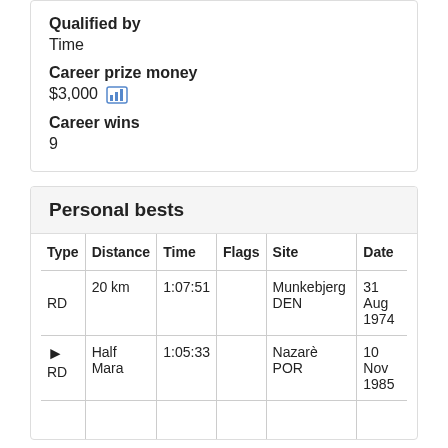Qualified by
Time
Career prize money
$3,000
Career wins
9
Personal bests
| Type | Distance | Time | Flags | Site | Date |
| --- | --- | --- | --- | --- | --- |
| RD | 20 km | 1:07:51 |  | Munkebjerg DEN | 31 Aug 1974 |
| ➤ RD | Half Mara | 1:05:33 |  | Nazarè POR | 10 Nov 1985 |
|  |  |  |  |  |  |